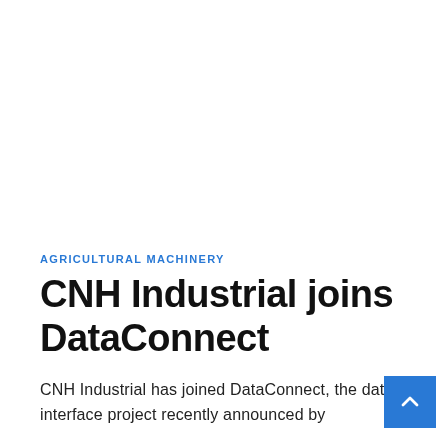AGRICULTURAL MACHINERY
CNH Industrial joins DataConnect
CNH Industrial has joined DataConnect, the data interface project recently announced by